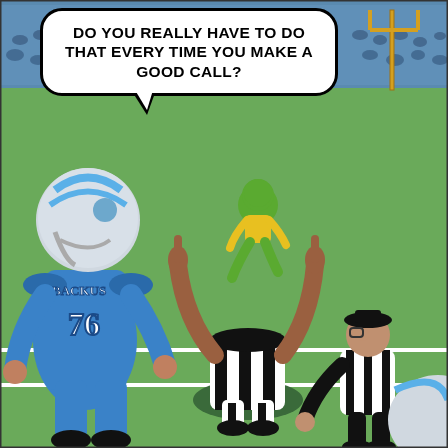[Figure (illustration): A football cartoon showing a football player (jersey #76, BACKUS) standing on the left, watching a referee who has sunk into the ground with both hands raised (index fingers pointing up in a 'number one' gesture). Another referee stands bent over in the background right. A player in yellow/green uniform runs in the middle background. Stadium crowd is visible in the upper background. A speech bubble reads: 'DO YOU REALLY HAVE TO DO THAT EVERY TIME YOU MAKE A GOOD CALL?']